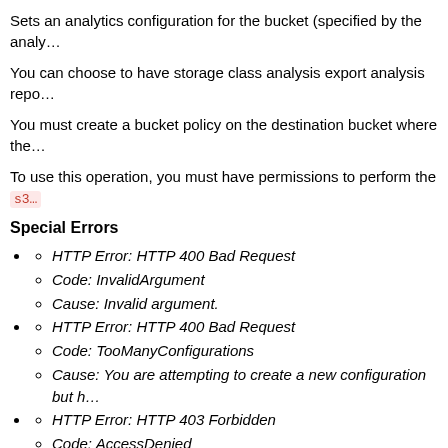Sets an analytics configuration for the bucket (specified by the analy…
You can choose to have storage class analysis export analysis repo…
You must create a bucket policy on the destination bucket where the…
To use this operation, you must have permissions to perform the s3…
Special Errors
HTTP Error: HTTP 400 Bad Request
Code: InvalidArgument
Cause: Invalid argument.
HTTP Error: HTTP 400 Bad Request
Code: TooManyConfigurations
Cause: You are attempting to create a new configuration but h…
HTTP Error: HTTP 403 Forbidden
Code: AccessDenied
Cause: You are not the owner of the specified bucket, or you …
Related Resources